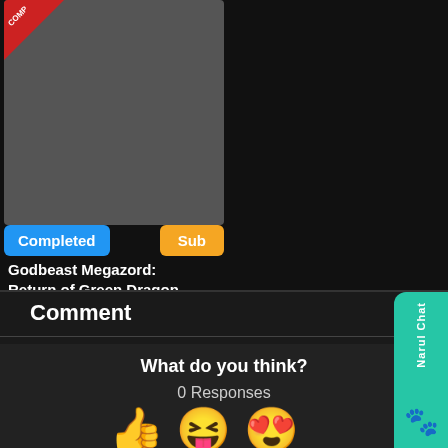[Figure (screenshot): Anime/media card with dark grey image placeholder, 'COMP' ribbon in top-left corner, 'Completed' blue badge and 'Sub' orange badge at bottom of card image]
Completed
Sub
Godbeast Megazord: Return of Green Dragon
Comment
What do you think?
0 Responses
[Figure (illustration): Three emoji reaction icons: thumbs up, laughing face with tongue out, heart eyes face]
Narul Chat